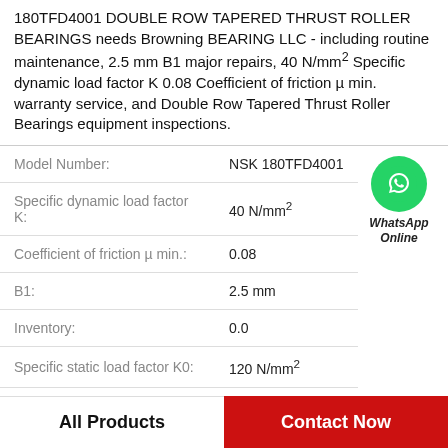180TFD4001 DOUBLE ROW TAPERED THRUST ROLLER BEARINGS needs Browning BEARING LLC - including routine maintenance, 2.5 mm B1 major repairs, 40 N/mm² Specific dynamic load factor K 0.08 Coefficient of friction µ min. warranty service, and Double Row Tapered Thrust Roller Bearings equipment inspections.
| Property | Value |
| --- | --- |
| Model Number: | NSK 180TFD4001 |
| Specific dynamic load factor K: | 40 N/mm² |
| Coefficient of friction µ min.: | 0.08 |
| B1: | 2.5 mm |
| Inventory: | 0.0 |
| Specific static load factor K0: | 120 N/mm² |
[Figure (logo): WhatsApp Online green circle icon with phone symbol and text 'WhatsApp Online']
All Products
Contact Now